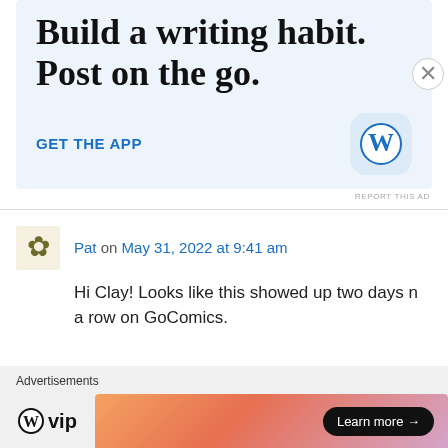[Figure (screenshot): WordPress app advertisement banner with text 'Build a writing habit. Post on the go.' and 'GET THE APP' call to action with WordPress logo icon]
REPORT THIS AD
Pat on May 31, 2022 at 9:41 am
Hi Clay! Looks like this showed up two days n a row on GoComics.
Advertisements
[Figure (screenshot): WordPress VIP logo and a gradient advertisement banner with 'Learn more' button]